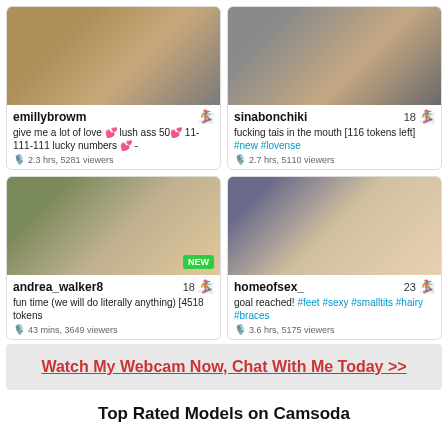[Figure (screenshot): Webcam thumbnail for emillybrowm]
emillybrowm
give me a lot of love 💕 lush ass 50💕 11-111-111 lucky numbers 💕 -
2.3 hrs, 5281 viewers
[Figure (screenshot): Webcam thumbnail for sinabonchiki]
sinabonchiki 18
fucking tais in the mouth [116 tokens left] #new #lovense
2.7 hrs, 5110 viewers
[Figure (screenshot): Webcam thumbnail for andrea_walker8 with NEW badge]
andrea_walker8 18
fun time (we will do literally anything) [4518 tokens
43 mins, 3649 viewers
[Figure (screenshot): Webcam thumbnail for homeofsex_]
homeofsex_ 23
goal reached! #feet #sexy #smalltits #hairy #braces
3.6 hrs, 5175 viewers
Watch My Webcam Now, Chat With Me Today >>
Top Rated Models on Camsoda